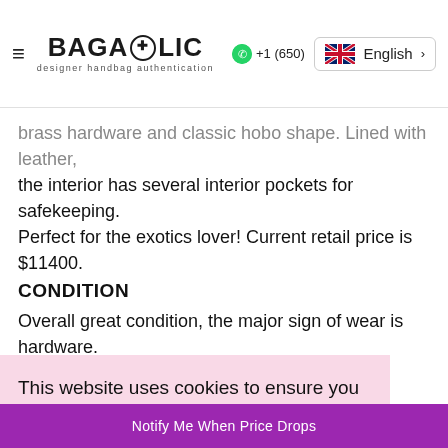BAGAHOLIC designer handbag authentication | +1 (650) | English
brass hardware and classic hobo shape. Lined with leather, the interior has several interior pockets for safekeeping. Perfect for the exotics lover! Current retail price is $11400.
CONDITION
Overall great condition, the major sign of wear is hardware.
This website uses cookies to ensure you get the best experience on our website.
Learn More
Got it!
oft
aw
Notify Me When Price Drops